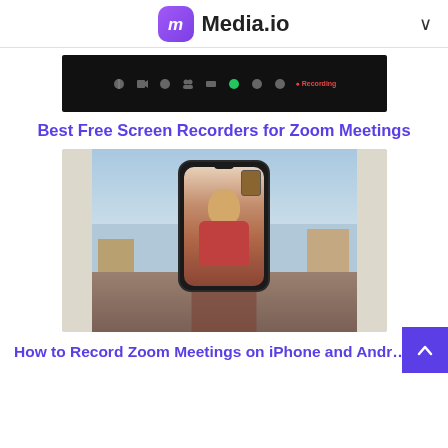Media.io
[Figure (screenshot): Zoom meeting toolbar/controls bar on black background]
Best Free Screen Recorders for Zoom Meetings
[Figure (photo): Person holding a smartphone showing a video call with someone in a red hoodie, photographed near a window with buildings visible outside]
How to Record Zoom Meetings on iPhone and Android